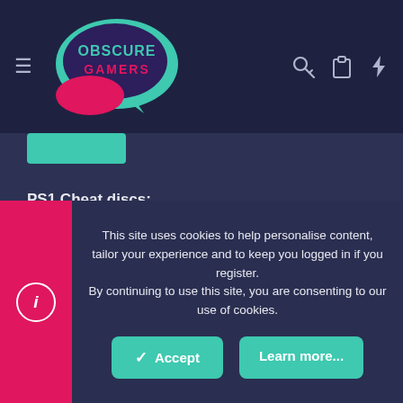Obscure Gamers
PS1 Cheat discs:
Spoiler
Last edited: Jul 6, 2019
This site uses cookies to help personalise content, tailor your experience and to keep you logged in if you register. By continuing to use this site, you are consenting to our use of cookies.
Accept
Learn more...